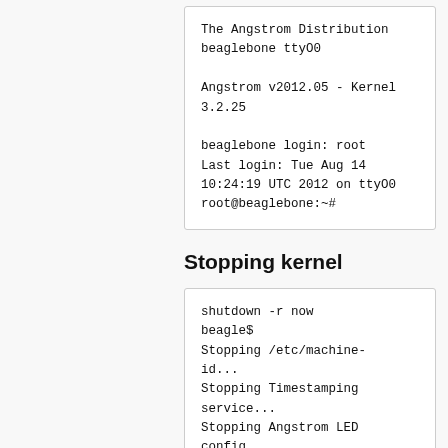[Figure (screenshot): Terminal/console output block showing Angstrom Distribution login on beaglebone tty00, kernel version, and root login prompt]
Stopping kernel
[Figure (screenshot): Terminal/console output block showing shutdown -r now command and subsequent stopping messages for /etc/machine-id, Timestamping service, Angstrom LED config, and Beaglebone cape]